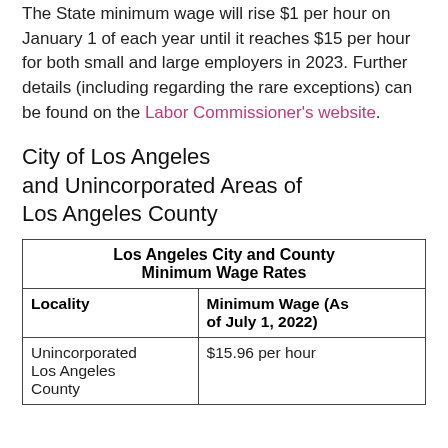The State minimum wage will rise $1 per hour on January 1 of each year until it reaches $15 per hour for both small and large employers in 2023. Further details (including regarding the rare exceptions) can be found on the Labor Commissioner's website.
City of Los Angeles and Unincorporated Areas of Los Angeles County
| Los Angeles City and County Minimum Wage Rates |  |
| --- | --- |
| Locality | Minimum Wage (As of July 1, 2022) |
| Unincorporated Los Angeles County | $15.96 per hour |